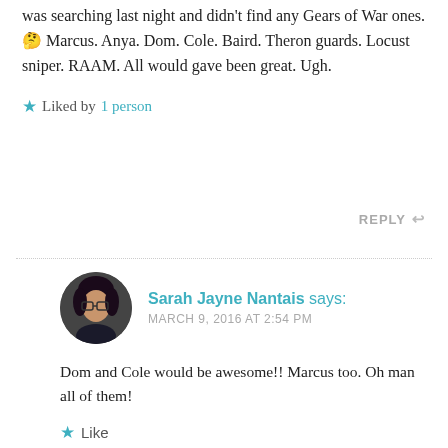was searching last night and didn't find any Gears of War ones. 🤔 Marcus. Anya. Dom. Cole. Baird. Theron guards. Locust sniper. RAAM. All would gave been great. Ugh.
★ Liked by 1 person
REPLY ↩
Sarah Jayne Nantais says:
MARCH 9, 2016 AT 2:54 PM
Dom and Cole would be awesome!! Marcus too. Oh man all of them!
★ Like